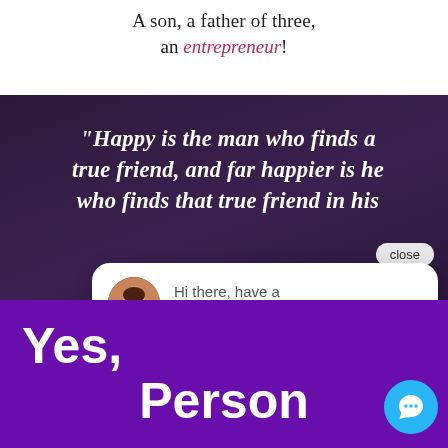A son, a father of three, an entrepreneur!
[Figure (screenshot): Dark purple-toned background with italic bold white quote text reading: "Happy is the man who finds a true friend, and far happier is he who finds that true friend in his..." with a 'close' button, a live chat popup bubble showing an avatar and 'Hi there, have a question? Text us here.', a purple call-to-action bar reading 'Yes, Person', and a blue circular chat icon button.]